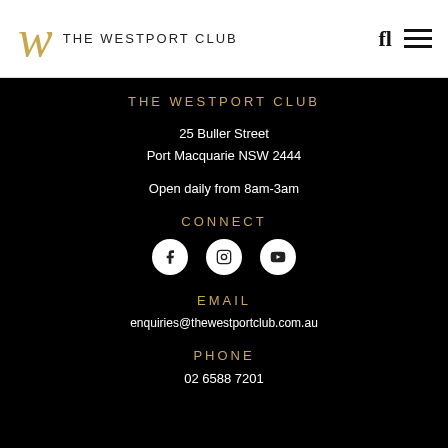THE WESTPORT CLUB
THE WESTPORT CLUB
25 Buller Street
Port Macquarie NSW 2444
Open daily from 8am-3am
CONNECT
[Figure (other): Three social media icons (Facebook, Instagram, YouTube) in white circles on black background]
EMAIL
enquiries@thewestportclub.com.au
PHONE
02 6588 7201